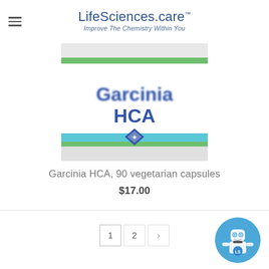LifeSciences.care — Improve The Chemistry Within You
[Figure (photo): Product photo of Garcinia HCA supplement bottle label, showing 'Garcinia HCA' text in blue on white label with green and teal stripe accents and a blue diamond logo]
Garcinia HCA, 90 vegetarian capsules
$17.00
1  2  >